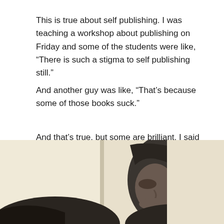This is true about self publishing. I was teaching a workshop about publishing on Friday and some of the students were like, “There is such a stigma to self publishing still.”
And another guy was like, “That’s because some of those books suck.”
And that’s true, but some are brilliant. I said that.
I also said, “There are some traditionally published books that suck, too.”
[Figure (photo): A person with dark hair viewed from the side/below, sitting in what appears to be a chair, photograph cropped at bottom of page]